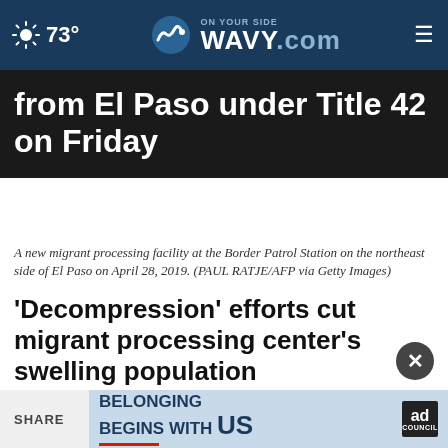73° WAVY.com ON YOUR SIDE
from El Paso under Title 42 on Friday
A new migrant processing facility at the Border Patrol Station on the northeast side of El Paso on April 28, 2019. (PAUL RATJE/AFP via Getty Images)
'Decompression' efforts cut migrant processing center's swelling population
by: Julian Resendiz
Posted: May 22, 2022 / 05:25 PM EDT
Updated: May 22, 2022 / 05:25 PM EDT
SHARE
[Figure (advertisement): Ad Council banner: BELONGING BEGINS WITH US with red underline and Ad Council logo]